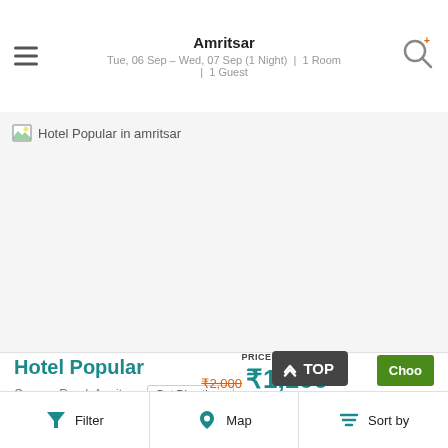Amritsar
Tue, 06 Sep – Wed, 07 Sep (1 Night) | 1 Room | 1 Guest
[Figure (photo): Broken/missing hotel image placeholder for Hotel Popular in amritsar]
Hotel Popular
Queens Road, Amritsar
Get Directions
0.69 KM
PRICE PER NIGHT
₹2,000 ₹1,100
Choo
Filter   Map   Sort by